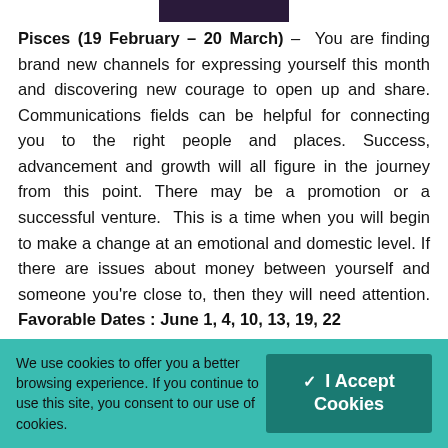[Figure (photo): Dark purple/black image banner at top center]
Pisces (19 February – 20 March) – You are finding brand new channels for expressing yourself this month and discovering new courage to open up and share. Communications fields can be helpful for connecting you to the right people and places. Success, advancement and growth will all figure in the journey from this point. There may be a promotion or a successful venture. This is a time when you will begin to make a change at an emotional and domestic level. If there are issues about money between yourself and someone you're close to, then they will need attention. Favorable Dates : June 1, 4, 10, 13, 19, 22 Favorable Colors : White & Yellow
We use cookies to offer you a better browsing experience. If you continue to use this site, you consent to our use of cookies.